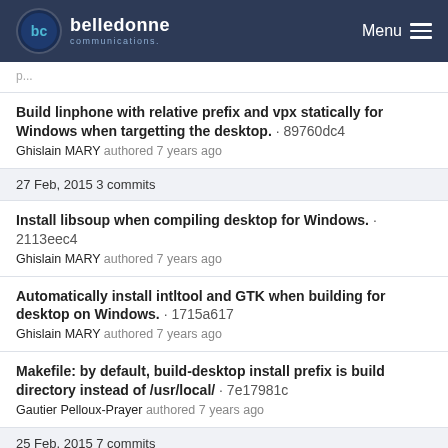belledonne communications — Menu
Build linphone with relative prefix and vpx statically for Windows when targetting the desktop. · 89760dc4
Ghislain MARY authored 7 years ago
27 Feb, 2015 3 commits
Install libsoup when compiling desktop for Windows. · 2113eec4
Ghislain MARY authored 7 years ago
Automatically install intltool and GTK when building for desktop on Windows. · 1715a617
Ghislain MARY authored 7 years ago
Makefile: by default, build-desktop install prefix is build directory instead of /usr/local/ · 7e17981c
Gautier Pelloux-Prayer authored 7 years ago
25 Feb, 2015 7 commits